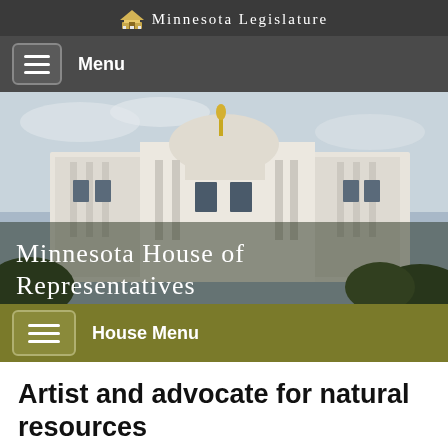Minnesota Legislature
Menu
[Figure (photo): Minnesota State Capitol building dome and upper facade, with white stone columns and a golden statue visible, against a partly cloudy sky with trees in foreground. Overlay text reads 'Minnesota House of Representatives'.]
House Menu
Artist and advocate for natural resources
Published (3/16/2012)